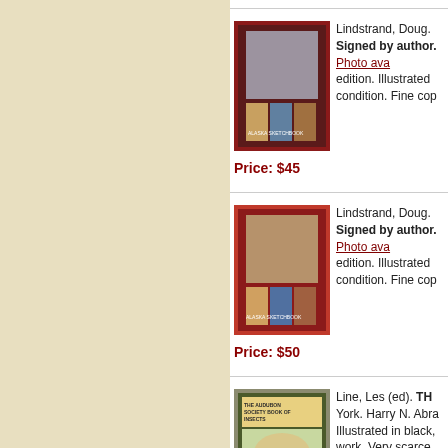[Figure (photo): Book cover photo of Lindstrand Doug Alaska Sketchbook on dark red background]
Lindstrand, Doug. Signed by author. Photo available. edition. Illustrated condition. Fine cop
Price: $45
[Figure (photo): Book cover photo of Lindstrand Doug Alaska Sketchbook on red fabric background]
Lindstrand, Doug. Signed by author. Photo available. edition. Illustrated condition. Fine cop
Price: $50
[Figure (photo): Book cover photo of The Audubon Society Book of Insects]
Line, Les (ed). TH York. Harry N. Abra Illustrated in black, work. Very scarce